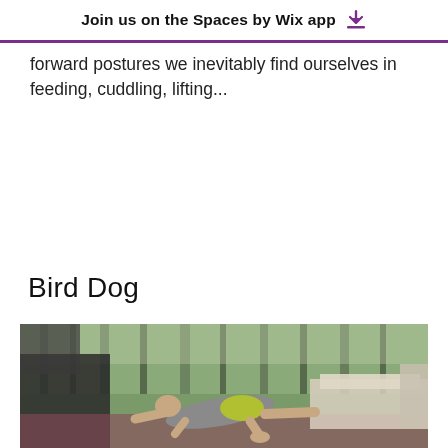Join us on the Spaces by Wix app
forward postures we inevitably find ourselves in feeding, cuddling, lifting...
Bird Dog
[Figure (photo): Person performing a Bird Dog yoga/exercise pose on a mat on an outdoor patio or deck, with trees visible in the background and outdoor furniture nearby.]